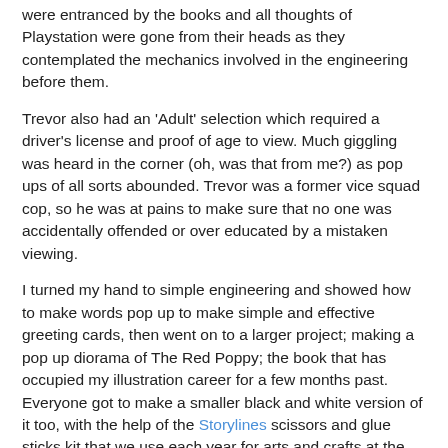were entranced by the books and all thoughts of Playstation were gone from their heads as they contemplated the mechanics involved in the engineering before them.
Trevor also had an 'Adult' selection which required a driver's license and proof of age to view. Much giggling was heard in the corner (oh, was that from me?) as pop ups of all sorts abounded. Trevor was a former vice squad cop, so he was at pains to make sure that no one was accidentally offended or over educated by a mistaken viewing.
I turned my hand to simple engineering and showed how to make words pop up to make simple and effective greeting cards, then went on to a larger project; making a pop up diorama of The Red Poppy; the book that has occupied my illustration career for a few months past. Everyone got to make a smaller black and white version of it too, with the help of the Storylines scissors and glue sticks kit that we use each year for arts and crafts at the festival day.
I promised the enthusiastic audience some links to useful sites that show how to make pop ups.